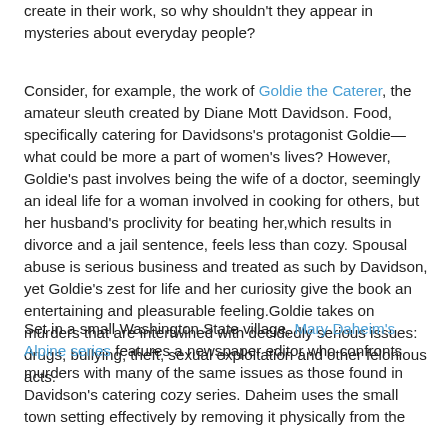create in their work, so why shouldn't they appear in mysteries about everyday people?
Consider, for example, the work of Goldie the Caterer, the amateur sleuth created by Diane Mott Davidson. Food, specifically catering for Davidsons's protagonist Goldie—what could be more a part of women's lives? However, Goldie's past involves being the wife of a doctor, seemingly an ideal life for a woman involved in cooking for others, but her husband's proclivity for beating her,which results in divorce and a jail sentence, feels less than cozy. Spousal abuse is serious business and treated as such by Davidson, yet Goldie's zest for life and her curiosity give the book an entertaining and pleasurable feeling.Goldie takes on murders that are intertwined with decidedly serious issues: drugs, bullying, theft, sexual exploitation and other felonious acts.
Set in a small Washington State village, Mary Daheim's Alpine series features a newspaper editor who confronts murders with many of the same issues as those found in Davidson's catering cozy series. Daheim uses the small town setting effectively by removing it physically from the